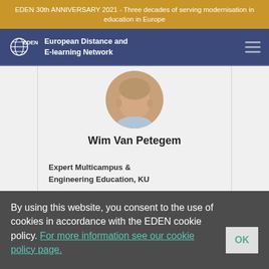EDEN 30th ANNIVERSARY 2021 - Three decades of serving modernisation in education in Europe
[Figure (logo): EDEN European Distance and E-learning Network logo with globe icon and hamburger menu on dark blue navigation bar]
[Figure (photo): Circular cropped profile photo of Wim Van Petegem]
Wim Van Petegem
Expert Multicampus & Engineering Education, KU
By using this website, you consent to the use of cookies in accordance with the EDEN cookie policy. For more information see our cookie policy page.